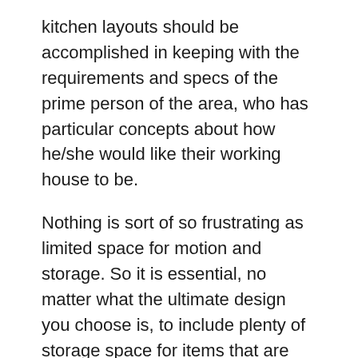kitchen layouts should be accomplished in keeping with the requirements and specs of the prime person of the area, who has particular concepts about how he/she would like their working house to be.
Nothing is sort of so frustrating as limited space for motion and storage. So it is essential, no matter what the ultimate design you choose is, to include plenty of storage space for items that are not in use. Storage space. If you have received much less room to maneuver, then you need to make certain that you're getting probably the most out of the kitchen's capability to carry appliances, pots, pans, flatware, and different items that belong there. Organize your things and different personal items in their proper locations so it will not scatter everywhere in the ground. Home